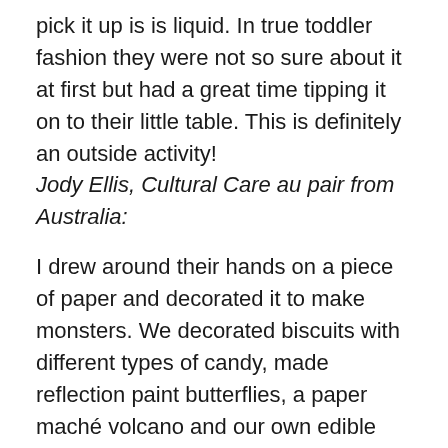pick it up is is liquid. In true toddler fashion they were not so sure about it at first but had a great time tipping it on to their little table. This is definitely an outside activity!
Jody Ellis, Cultural Care au pair from Australia:
I drew around their hands on a piece of paper and decorated it to make monsters. We decorated biscuits with different types of candy, made reflection paint butterflies, a paper maché volcano and our own edible necklaces with fruit loops and string. Oh, and marble painting—they love that!
Andrea Tavernaro, Cultural Care au pair from Brazil:
We made owls with the end of toilet paper or paper towel rolls, using lots of old stuff.